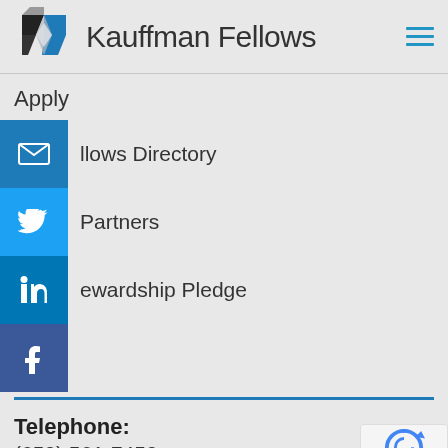[Figure (logo): Kauffman Fellows logo - geometric diamond shape in blue, grey, and black]
Kauffman Fellows
Apply
Fellows Directory
Partners
Stewardship Pledge
Telephone:
(650) 561-7450
[Figure (other): Google reCAPTCHA badge with Privacy and Terms links]